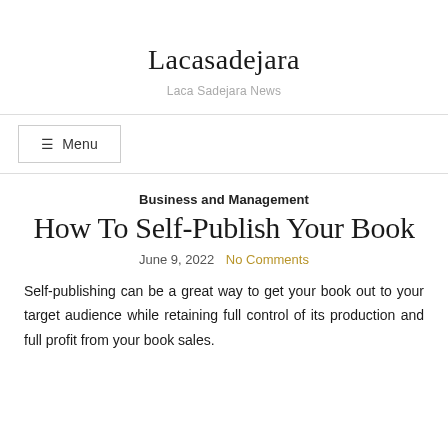Lacasadejara
Laca Sadejara News
Business and Management
How To Self-Publish Your Book
June 9, 2022  No Comments
Self-publishing can be a great way to get your book out to your target audience while retaining full control of its production and full profit from your book sales.